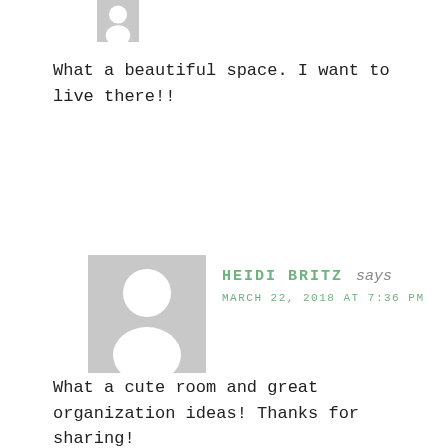[Figure (illustration): Partial generic avatar silhouette (gray person icon), cropped at top of page]
What a beautiful space. I want to live there!!
Reply
[Figure (illustration): Generic gray avatar silhouette (person icon placeholder)]
HEIDI BRITZ says
MARCH 22, 2018 AT 7:36 PM
What a cute room and great organization ideas! Thanks for sharing!